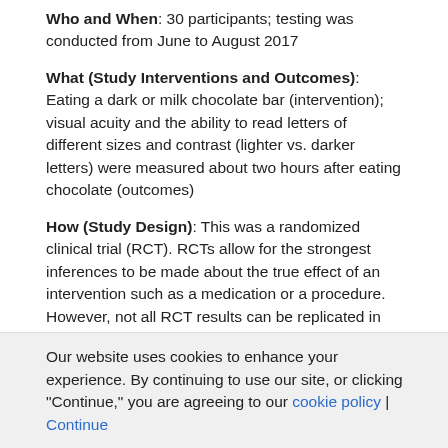Who and When: 30 participants; testing was conducted from June to August 2017
What (Study Interventions and Outcomes): Eating a dark or milk chocolate bar (intervention); visual acuity and the ability to read letters of different sizes and contrast (lighter vs. darker letters) were measured about two hours after eating chocolate (outcomes)
How (Study Design): This was a randomized clinical trial (RCT). RCTs allow for the strongest inferences to be made about the true effect of an intervention such as a medication or a procedure. However, not all RCT results can be replicated in real-world settings because patient characteristics or other variables may differ from those that were studied in the RCT.
Authors: Jeff C. Rabin, O.D., M.S., Ph.D., University of the Incarnate Word Rosenberg School of Optometry, San Antonio, and coauthors
Our website uses cookies to enhance your experience. By continuing to use our site, or clicking "Continue," you are agreeing to our cookie policy | Continue